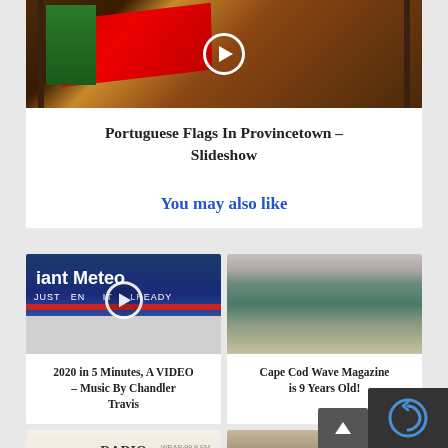[Figure (photo): Photo of Portuguese flags on a scaffold structure at sunset/dusk in Provincetown, with red and green flags visible against an orange sky. A play button circle overlay is visible.]
Portuguese Flags In Provincetown – Slideshow
You may also like
[Figure (screenshot): Video thumbnail showing '2020 in 5 Minutes' - text reads 'iant Meteo' and 'JUST EN... IT ...LREADY' with play button overlay]
2020 in 5 Minutes, A VIDEO – Music By Chandler Travis
[Figure (photo): Photo of Cape Cod ocean waves on a beach, muted tones with overcast sky]
Cape Cod Wave Magazine is 9 Years Old!
[Figure (photo): Radio Provincetown newspaper/magazine thumbnail showing WRAR radio station text]
[Figure (photo): Beach scene thumbnail, partially visible at bottom of page]